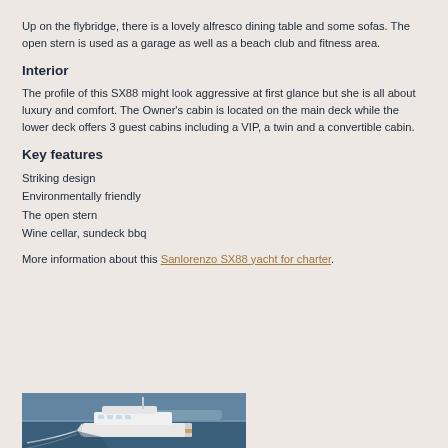Up on the flybridge, there is a lovely alfresco dining table and some sofas. The open stern is used as a garage as well as a beach club and fitness area.
Interior
The profile of this SX88 might look aggressive at first glance but she is all about luxury and comfort. The Owner's cabin is located on the main deck while the lower deck offers 3 guest cabins including a VIP, a twin and a convertible cabin.
Key features
Striking design
Environmentally friendly
The open stern
Wine cellar, sundeck bbq
More information about this Sanlorenzo SX88 yacht for charter.
[Figure (photo): Aerial or side view of a large white luxury yacht (Sanlorenzo SX88) underway at sea, viewed from above and behind, with a wake visible in blue water.]